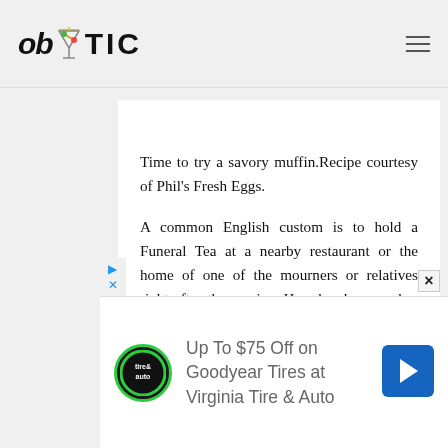ob TIC
Time to try a savory muffin.Recipe courtesy of Phil's Fresh Eggs.
A common English custom is to hold a Funeral Tea at a nearby restaurant or the home of one of the mourners or relatives right after the service. Ham has been such a traditional component of Funeral Tea that it...
[Figure (other): Advertisement banner: Up To $75 Off on Goodyear Tires at Virginia Tire & Auto, with Tire & Auto logo and navigation arrow icon]